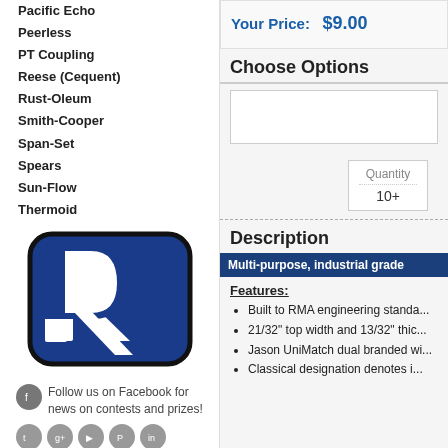Pacific Echo
Peerless
PT Coupling
Reese (Cequent)
Rust-Oleum
Smith-Cooper
Span-Set
Spears
Sun-Flow
Thermoid
[Figure (logo): R logo with blue rounded rectangle background — company brand logo]
Follow us on Facebook for news on contests and prizes!
Your Price:   $9.00
Choose Options
| Quantity |
| --- |
| 10+ |
Description
Multi-purpose, industrial grade
Features:
Built to RMA engineering standa...
21/32" top width and 13/32" thic...
Jason UniMatch dual branded wi...
Classical designation denotes i...